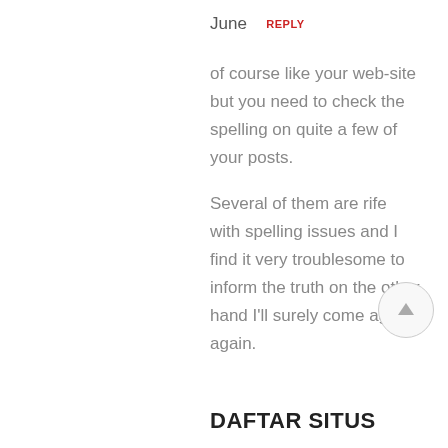June  REPLY
of course like your web-site but you need to check the spelling on quite a few of your posts.

Several of them are rife with spelling issues and I find it very troublesome to inform the truth on the other hand I'll surely come again again.
DAFTAR SITUS